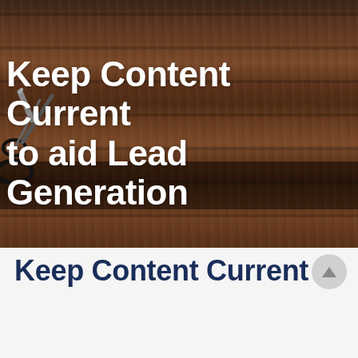[Figure (photo): Hero image of wooden planks background (dark brown wood texture) with scissors/tools partially visible in upper left and lower left. White bold text overlay reads 'Keep Content Current to aid Lead Generation'.]
Keep Content Current to aid Lead Generation
Keep Content Current